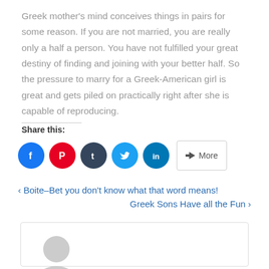Greek mother’s mind conceives things in pairs for some reason. If you are not married, you are really only a half a person. You have not fulfilled your great destiny of finding and joining with your better half. So the pressure to marry for a Greek-American girl is great and gets piled on practically right after she is capable of reproducing.
Share this:
[Figure (other): Social sharing buttons: Facebook (blue), Pinterest (red), Tumblr (dark blue), Twitter (light blue), LinkedIn (dark cyan), and a More button]
< Boite–Bet you don’t know what that word means!
Greek Sons Have all the Fun >
[Figure (illustration): Author avatar placeholder: grey silhouette of a person on white background inside a bordered box]